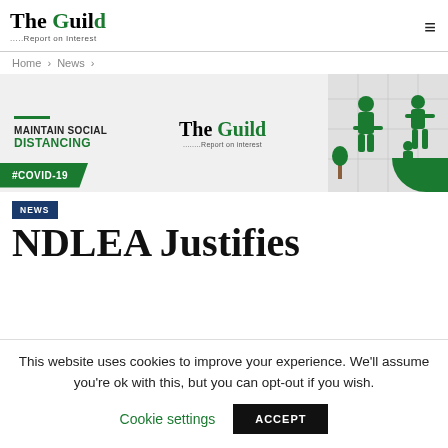The Guild .....Report on interest
Home > News >
[Figure (infographic): The Guild newspaper banner ad with MAINTAIN SOCIAL DISTANCING text on the left, The Guild logo in the center, and illustrated figures on the right. Green COVID-19 tag overlaid at the bottom.]
#COVID-19
NEWS
NDLEA Justifies
This website uses cookies to improve your experience. We'll assume you're ok with this, but you can opt-out if you wish. Cookie settings ACCEPT